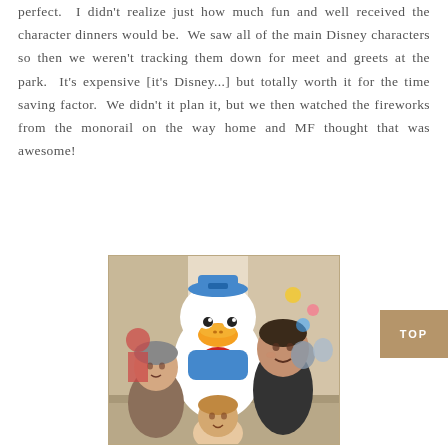perfect.  I didn't realize just how much fun and well received the character dinners would be.  We saw all of the main Disney characters so then we weren't tracking them down for meet and greets at the park.  It's expensive [it's Disney...] but totally worth it for the time saving factor.  We didn't it plan it, but we then watched the fireworks from the monorail on the way home and MF thought that was awesome!
[Figure (photo): Photo of a family (grandmother, mother, and child) posing with Donald Duck character at a Disney character dinner restaurant.]